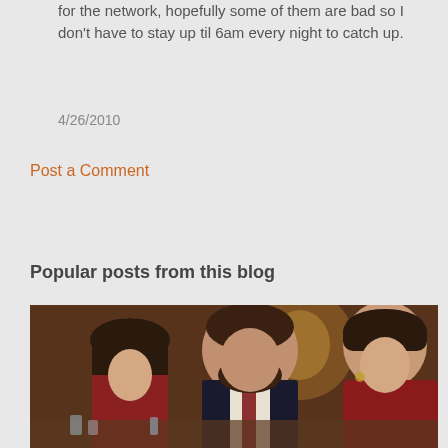for the network, hopefully some of them are bad so I don't have to stay up til 6am every night to catch up.
4/26/2010
Post a Comment
Popular posts from this blog
[Figure (photo): A television still showing three people seated at a dinner table in a restaurant setting. On the left is a woman with dark hair looking down, in the center is a heavyset man with glasses and a beard wearing a suit and tie, and on the right is a woman with short dark hair wearing a red top looking down.]